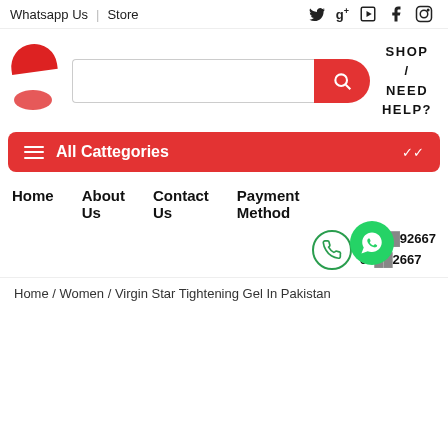Whatsapp Us | Store
Twitter G+ YouTube Facebook Instagram (social icons)
[Figure (logo): Red crescent/arc logo shape on left side]
SHOP / NEED HELP?
All Cattegories
Home   About Us   Contact Us   Payment Method
0300...92667  03...2667 (phone numbers with phone icon and WhatsApp bubble)
Home / Women / Virgin Star Tightening Gel In Pakistan